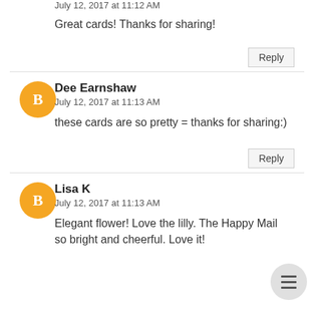July 12, 2017 at 11:12 AM
Great cards! Thanks for sharing!
Reply
Dee Earnshaw
July 12, 2017 at 11:13 AM
these cards are so pretty = thanks for sharing:)
Reply
Lisa K
July 12, 2017 at 11:13 AM
Elegant flower! Love the lilly. The Happy Mail so bright and cheerful. Love it!